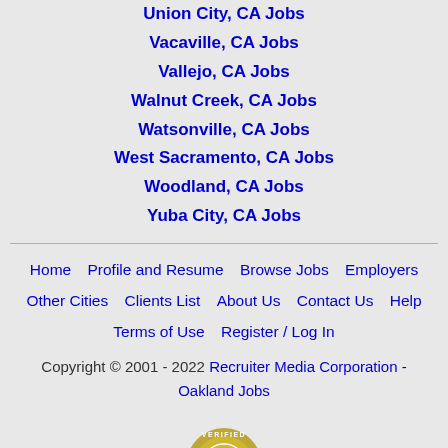Union City, CA Jobs
Vacaville, CA Jobs
Vallejo, CA Jobs
Walnut Creek, CA Jobs
Watsonville, CA Jobs
West Sacramento, CA Jobs
Woodland, CA Jobs
Yuba City, CA Jobs
Home  Profile and Resume  Browse Jobs  Employers  Other Cities  Clients List  About Us  Contact Us  Help  Terms of Use  Register / Log In
Copyright © 2001 - 2022 Recruiter Media Corporation - Oakland Jobs
[Figure (logo): Verified badge/seal logo partially visible at bottom]